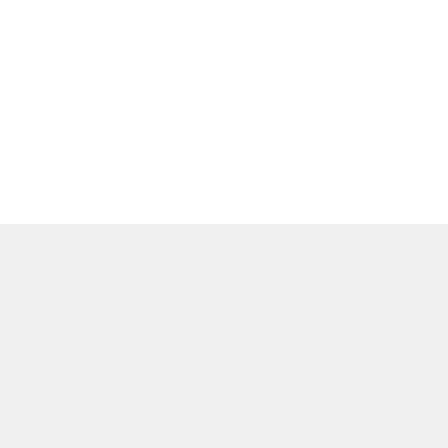Join the FLIGHT CLUB
Receive 15% off your next coffee order and stay in the loop for fun stories, coffee releases, and special deals.